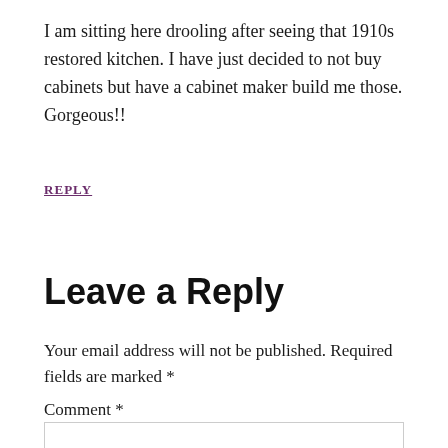I am sitting here drooling after seeing that 1910s restored kitchen. I have just decided to not buy cabinets but have a cabinet maker build me those. Gorgeous!!
REPLY
Leave a Reply
Your email address will not be published. Required fields are marked *
Comment *